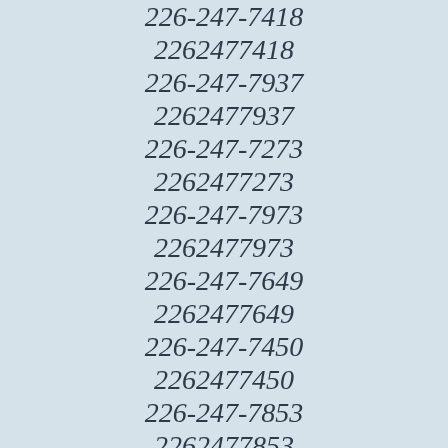226-247-7418
2262477418
226-247-7937
2262477937
226-247-7273
2262477273
226-247-7973
2262477973
226-247-7649
2262477649
226-247-7450
2262477450
226-247-7853
2262477853
226-247-7614